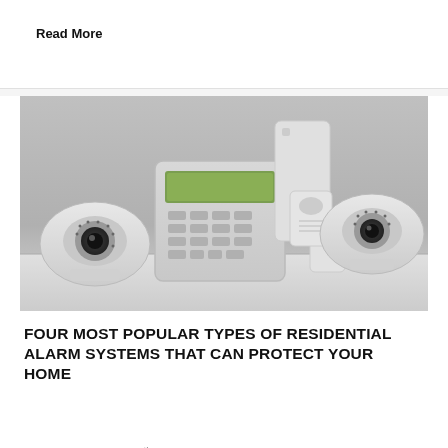Read More
[Figure (photo): Home security alarm system components including a keypad control panel, motion sensors, door/window sensors, and two dome security cameras arranged on a white surface against a gray background.]
FOUR MOST POPULAR TYPES OF RESIDENTIAL ALARM SYSTEMS THAT CAN PROTECT YOUR HOME
Posted On October 16th, 2020